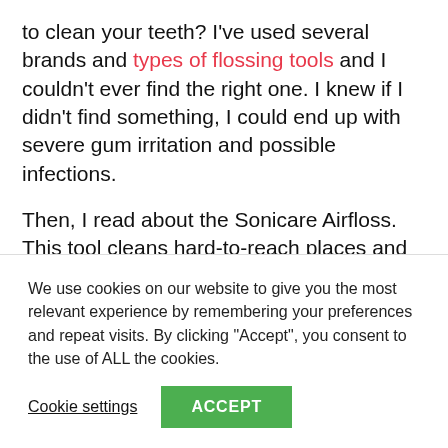to clean your teeth? I've used several brands and types of flossing tools and I couldn't ever find the right one. I knew if I didn't find something, I could end up with severe gum irritation and possible infections.
Then, I read about the Sonicare Airfloss. This tool cleans hard-to-reach places and so much more.
Things to Consider Before
We use cookies on our website to give you the most relevant experience by remembering your preferences and repeat visits. By clicking "Accept", you consent to the use of ALL the cookies.